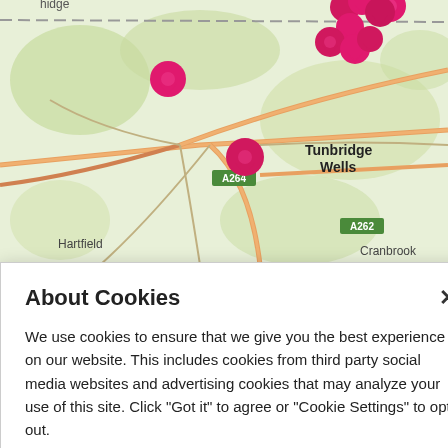[Figure (map): A map showing Tunbridge Wells area with pink location pin markers scattered around the area. Places labeled include Hartfield, Tunbridge Wells, Cranbrook, and road markings A264, A262. The map has a typical road map style with green areas, roads, and place labels.]
About Cookies
We use cookies to ensure that we give you the best experience on our website. This includes cookies from third party social media websites and advertising cookies that may analyze your use of this site. Click "Got it" to agree or "Cookie Settings" to opt out.
Cookie Notice
Got It
Cookies Settings